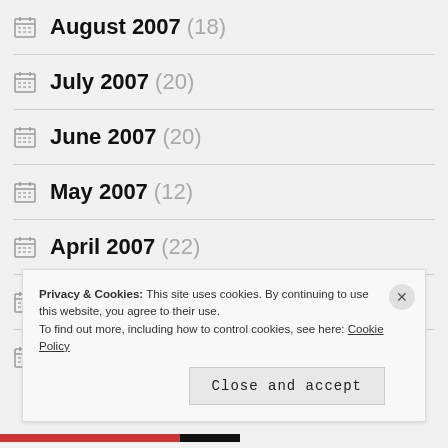August 2007 (18)
July 2007 (20)
June 2007 (20)
May 2007 (12)
April 2007 (22)
March 2007 (14)
February 2007 (22)
Privacy & Cookies: This site uses cookies. By continuing to use this website, you agree to their use.
To find out more, including how to control cookies, see here: Cookie Policy